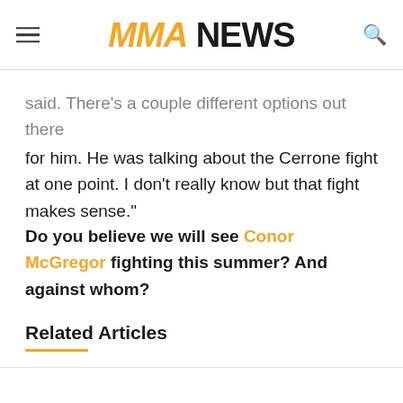MMA NEWS
said. There's a couple different options out there for him. He was talking about the Cerrone fight at one point. I don't really know but that fight makes sense."
Do you believe we will see Conor McGregor fighting this summer? And against whom?
Related Articles